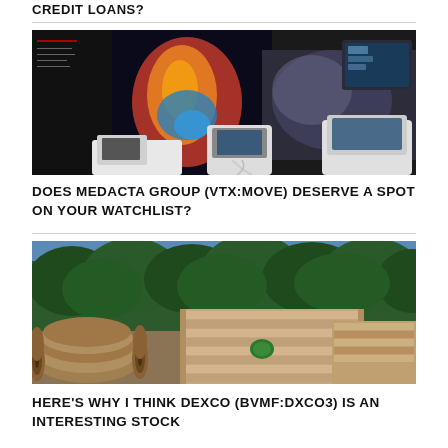CREDIT LOANS?
[Figure (photo): Medical imaging equipment including ultrasound machines in front of a large colorful cardiac imaging display screen]
DOES MEDACTA GROUP (VTX:MOVE) DESERVE A SPOT ON YOUR WATCHLIST?
[Figure (photo): Stacked lumber logs and planks with a dense green forest in the background]
HERE'S WHY I THINK DEXCO (BVMF:DXCO3) IS AN INTERESTING STOCK